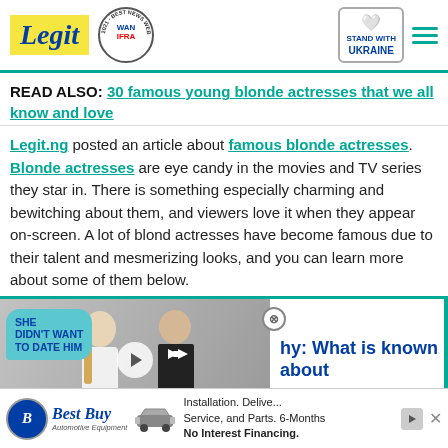Legit | WAN IFRA 2021 Best News Website in Africa | Stand with Ukraine
READ ALSO: 30 famous young blonde actresses that we all know and love
Legit.ng posted an article about famous blonde actresses. Blonde actresses are eye candy in the movies and TV series they star in. There is something especially charming and bewitching about them, and viewers love it when they appear on-screen. A lot of blond actresses have become famous due to their talent and mesmerizing looks, and you can learn more about some of them below.
[Figure (screenshot): Video thumbnail of a couple (blonde woman in white dress and man in tuxedo) with speech bubble text 'SHE DIDN'T WANT TO DATE HIM', play button overlay, and partial title 'hy: What is known about']
[Figure (other): Best Buy Automotive Equipment advertisement: Installation, Delivery, Service, and Parts. 6-Months No Interest Financing.]